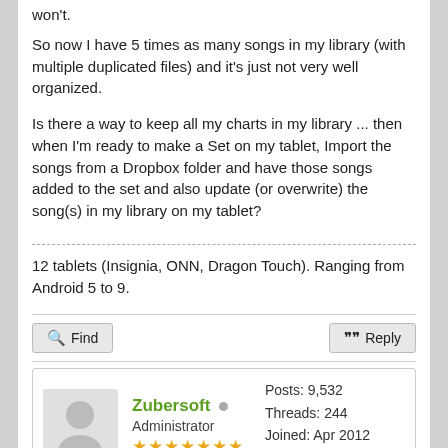won't.
So now I have 5 times as many songs in my library (with multiple duplicated files) and it's just not very well organized.
Is there a way to keep all my charts in my library ... then when I'm ready to make a Set on my tablet, Import the songs from a Dropbox folder and have those songs added to the set and also update (or overwrite) the song(s) in my library on my tablet?
12 tablets (Insignia, ONN, Dragon Touch). Ranging from Android 5 to 9.
Find   Reply (action buttons)
Zubersoft  Administrator  ★★★★★★★
Posts: 9,532  Threads: 244  Joined: Apr 2012  Reputation: 126
10-26-2016, 04:18 AM (This post was last modified:     #2